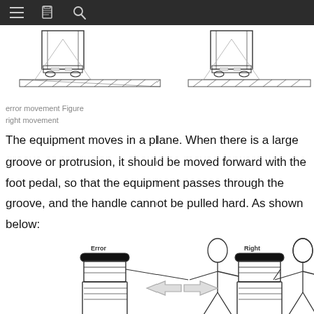[Figure (engineering-diagram): Two side-by-side engineering diagrams showing equipment on ground surface from front view, illustrating error movement (left) and right movement (right).]
error movement Figure
right movement
The equipment moves in a plane. When there is a large groove or protrusion, it should be moved forward with the foot pedal, so that the equipment passes through the groove, and the handle cannot be pulled hard. As shown below:
[Figure (engineering-diagram): Two side-by-side diagrams showing a person operating floor equipment. Left diagram labeled 'Error' shows person pushing forward. An arrow points right between the two. Right diagram labeled 'Right' shows person using foot pedal with arrow pointing left. Right diagram also shows a foot pedal action.]